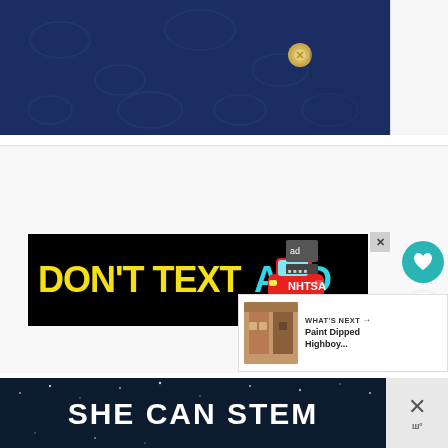[Figure (photo): Close-up photo of navy blue textured leather with a gold metal button/stud visible]
[Figure (photo): Advertisement banner: black background with yellow text DON'T TEXT AND cyan text AND, red car emoji, NHTSA logo - ad by Adchoices]
[Figure (photo): What's Next panel showing a thumbnail of Paint Dipped Highboy furniture article]
[Figure (photo): Bottom advertisement banner with dark navy background and white bold text SHE CAN STEM]